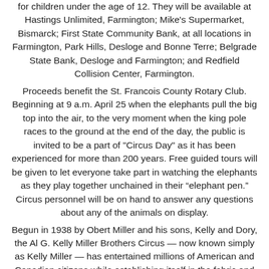for children under the age of 12. They will be available at Hastings Unlimited, Farmington; Mike's Supermarket, Bismarck; First State Community Bank, at all locations in Farmington, Park Hills, Desloge and Bonne Terre; Belgrade State Bank, Desloge and Farmington; and Redfield Collision Center, Farmington. Proceeds benefit the St. Francois County Rotary Club. Beginning at 9 a.m. April 25 when the elephants pull the big top into the air, to the very moment when the king pole races to the ground at the end of the day, the public is invited to be a part of "Circus Day" as it has been experienced for more than 200 years. Free guided tours will be given to let everyone take part in watching the elephants as they play together unchained in their “elephant pen.” Circus personnel will be on hand to answer any questions about any of the animals on display. Begun in 1938 by Obert Miller and his sons, Kelly and Dory, the Al G. Kelly Miller Brothers Circus — now known simply as Kelly Miller — has entertained millions of American and Canadian citizens while establishing itself in the fabric and history of the American Tented Circus. From 1984 through 2006, David Rawls, president and third